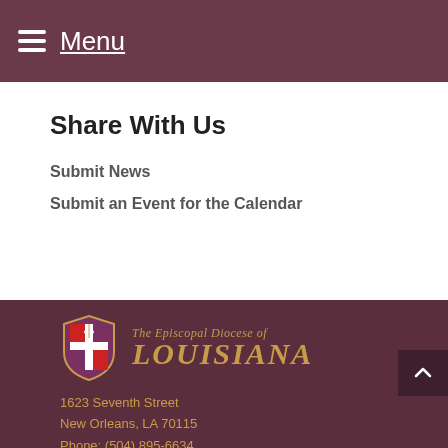Menu
Share With Us
Submit News
Submit an Event for the Calendar
[Figure (logo): The Episcopal Diocese of Louisiana logo with shield/crest emblem]
1623 Seventh Street
New Orleans, LA 70115
Phone: (504) 895-6634
Fax: (504) 208-3511